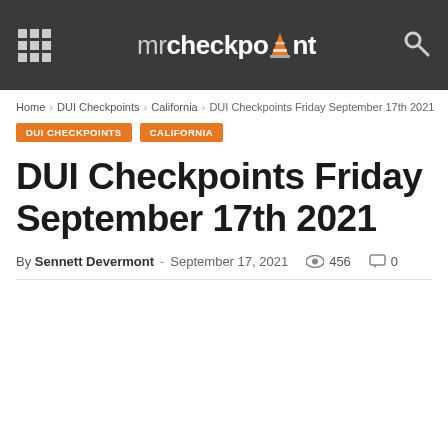mrcheckpoint
Home > DUI Checkpoints > California > DUI Checkpoints Friday September 17th 2021
DUI CHECKPOINTS
CALIFORNIA
DUI Checkpoints Friday September 17th 2021
By Sennett Devermont - September 17, 2021   456   0